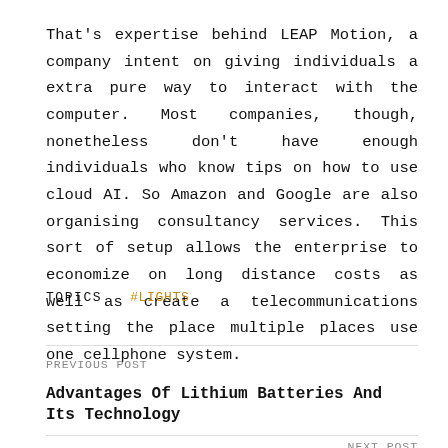That's expertise behind LEAP Motion, a company intent on giving individuals a extra pure way to interact with the computer. Most companies, though, nonetheless don't have enough individuals who know tips on how to use cloud AI. So Amazon and Google are also organising consultancy services. This sort of setup allows the enterprise to economize on long distance costs as well as create a telecommunications setting the place multiple places use one cellphone system.
TOPICS   #LIGHTS
PREVIOUS POST
Advantages Of Lithium Batteries And Its Technology
NEXT POST